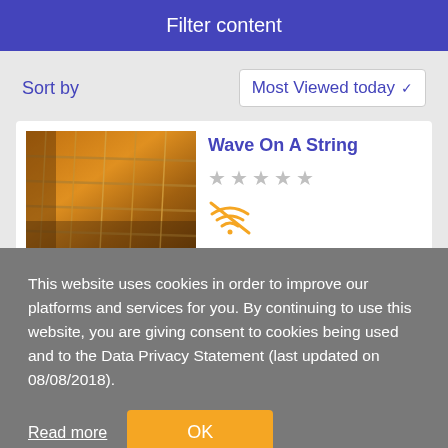Filter content
Sort by
Most Viewed today
Wave On A String
[Figure (screenshot): Guitar string close-up image with warm orange tones]
This website uses cookies in order to improve our platforms and services for you. By continuing to use this website, you are giving consent to cookies being used and to the Data Privacy Statement (last updated on 08/08/2018).
Read more
OK